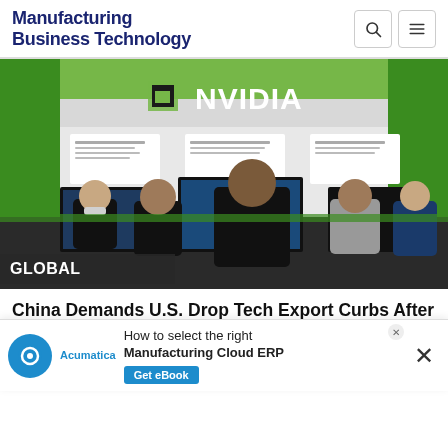Manufacturing Business Technology
[Figure (photo): People standing at an NVIDIA exhibition booth with green branding, displays showing AI/GPU technology content, attendees wearing masks viewing demonstration screens.]
GLOBAL
China Demands U.S. Drop Tech Export Curbs After Nvidia Warning
The ch... delayed and so...
[Figure (infographic): Advertisement banner: Acumatica - How to select the right Manufacturing Cloud ERP. Get eBook button.]